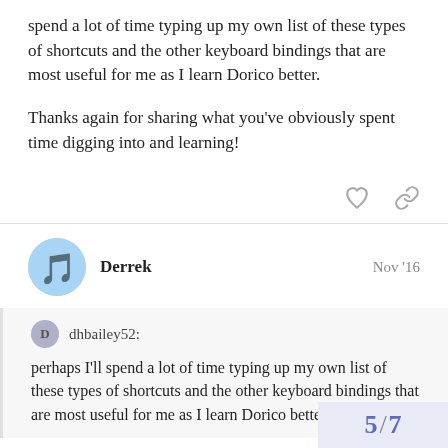spend a lot of time typing up my own list of these types of shortcuts and the other keyboard bindings that are most useful for me as I learn Dorico better.
Thanks again for sharing what you've obviously spent time digging into and learning!
Derrek  Nov '16
dhbailey52:
perhaps I'll spend a lot of time typing up my own list of these types of shortcuts and the other keyboard bindings that are most useful for me as I learn Dorico better.
Here is a spreadsheet of commands I hav
5 / 7